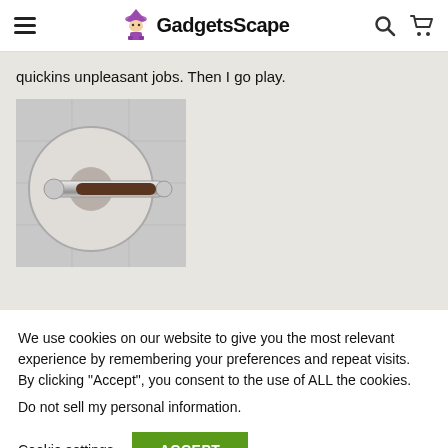GadgetsScape
quickins unpleasant jobs. Then I go play.
[Figure (photo): Close-up photo of a toilet paper holder with chrome bar mounted on a tiled bathroom wall]
We use cookies on our website to give you the most relevant experience by remembering your preferences and repeat visits. By clicking “Accept”, you consent to the use of ALL the cookies.
Do not sell my personal information.